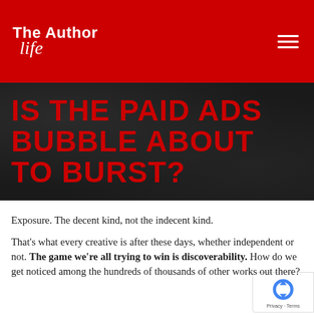The Author Life
IS THE PAID ADS BUBBLE ABOUT TO BURST?
Exposure. The decent kind, not the indecent kind.
That's what every creative is after these days, whether independent or not. The game we're all trying to win is discoverability. How do we get noticed among the hundreds of thousands of other works out there?